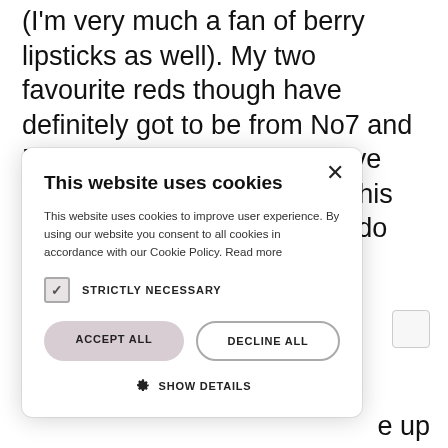(I'm very much a fan of berry lipsticks as well). My two favourite reds though have definitely got to be from No7 and MAC, these are brilliant. If I've learnt one thing from doing this post though, it's that I really do have quite a lot of lipsticks.
[Figure (screenshot): Cookie consent modal dialog with title 'This website uses cookies', body text about cookie policy, a checked 'STRICTLY NECESSARY' checkbox, 'ACCEPT ALL' and 'DECLINE ALL' buttons, and a 'SHOW DETAILS' link with gear icon. Close button (×) in top right.]
e up